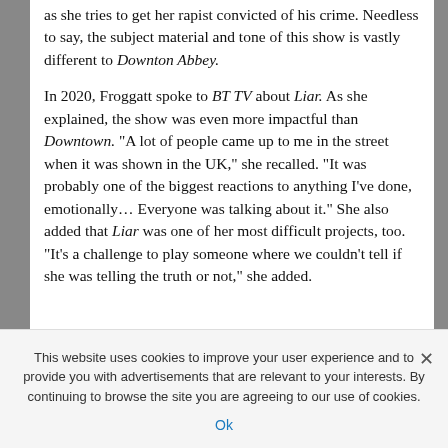as she tries to get her rapist convicted of his crime. Needless to say, the subject material and tone of this show is vastly different to Downton Abbey.
In 2020, Froggatt spoke to BT TV about Liar. As she explained, the show was even more impactful than Downtown. "A lot of people came up to me in the street when it was shown in the UK," she recalled. "It was probably one of the biggest reactions to anything I've done, emotionally... Everyone was talking about it." She also added that Liar was one of her most difficult projects, too. "It's a challenge to play someone where we couldn't tell if she was telling the truth or not," she added.
This website uses cookies to improve your user experience and to provide you with advertisements that are relevant to your interests. By continuing to browse the site you are agreeing to our use of cookies.
Ok